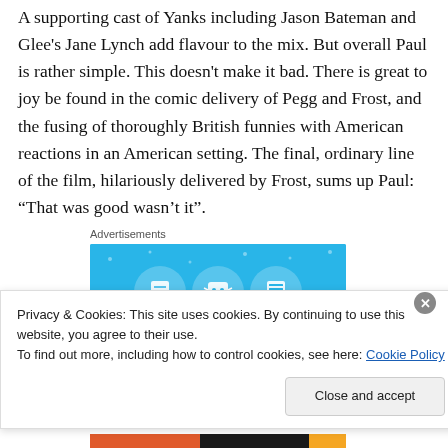A supporting cast of Yanks including Jason Bateman and Glee's Jane Lynch add flavour to the mix. But overall Paul is rather simple. This doesn't make it bad. There is great to joy be found in the comic delivery of Pegg and Frost, and the fusing of thoroughly British funnies with American reactions in an American setting. The final, ordinary line of the film, hilariously delivered by Frost, sums up Paul: “That was good wasn’t it”.
[Figure (screenshot): Advertisement banner with light blue background showing three circular icons with document/robot graphics]
Privacy & Cookies: This site uses cookies. By continuing to use this website, you agree to their use.
To find out more, including how to control cookies, see here: Cookie Policy